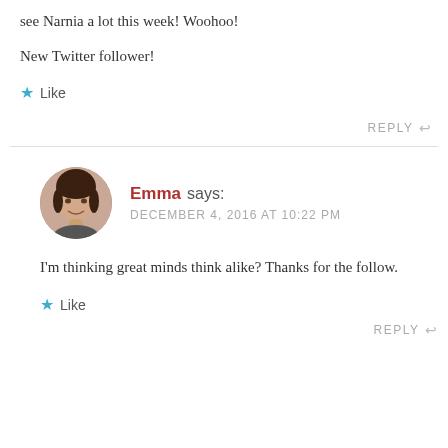see Narnia a lot this week! Woohoo!
New Twitter follower!
★ Like
REPLY ↩
Emma says: DECEMBER 4, 2016 AT 10:22 PM
I'm thinking great minds think alike? Thanks for the follow.
★ Like
REPLY ↩